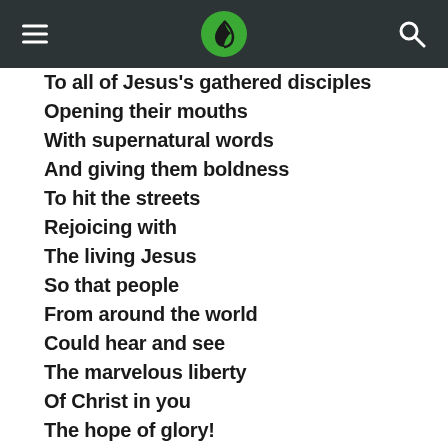[navigation header with logo]
To all of Jesus's gathered disciples
Opening their mouths
With supernatural words
And giving them boldness
To hit the streets
Rejoicing with
The living Jesus
So that people
From around the world
Could hear and see
The marvelous liberty
Of Christ in you
The hope of glory!

That wind continues to blow
But too few actually know
And surrender to